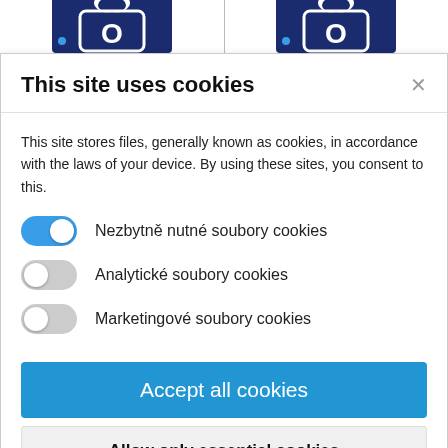[Figure (screenshot): Top banner showing two dark navy blue sports jersey/logo images side by side, partially cropped]
This site uses cookies
This site stores files, generally known as cookies, in accordance with the laws of your device. By using these sites, you consent to this.
Nezbytně nutné soubory cookies (toggle: on)
Analytické soubory cookies (toggle: off)
Marketingové soubory cookies (toggle: off)
Accept all cookies
Allow only essential cookies
More information